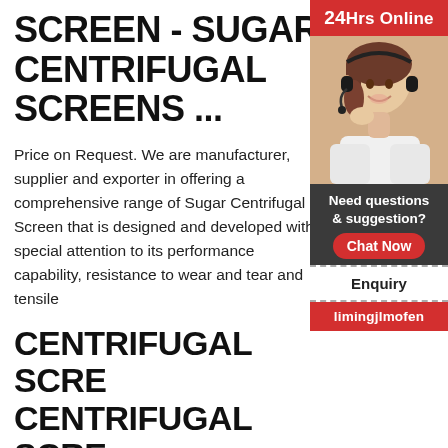SCREEN - SUGAR CENTRIFUGAL SCREENS ...
Price on Request. We are manufacturer, supplier and exporter in offering a comprehensive range of Sugar Centrifugal Screen that is designed and developed with special attention to its performance capability, resistance to wear and tear and tensile
CENTRIFUGAL SCRE CENTRIFUGAL SCRE MANUFACTURERS ...
Find here listing of centrifugal screen manufacturers, screen suppliers, dealers & exporters offering centrifugal screen at best price. Get wide range of centrifugal screen on companies in
CENTRIFUGAL SCRE
[Figure (photo): Woman wearing headset smiling, customer service representative photo with 24Hrs Online banner, chat support panel with Chat Now button, Enquiry link, and limingjlmofen label]